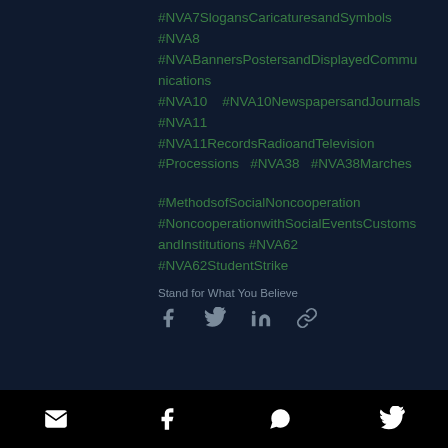#NVA7SlogansCaricaturesandSymbols
#NVA8
#NVABannersPostersandDisplayedCommunications
#NVA10    #NVA10NewspapersandJournals
#NVA11
#NVA11RecordsRadioandTelevision
#Processions    #NVA38    #NVA38Marches
#MethodsofSocialNoncooperation
#NoncooperationwithSocialEventsCustomsandInstitutions  #NVA62
#NVA62StudentStrike
Stand for What You Believe
[Figure (infographic): Social share icons: Facebook, Twitter, LinkedIn, link]
Footer bar with email, Facebook, WhatsApp, Twitter icons